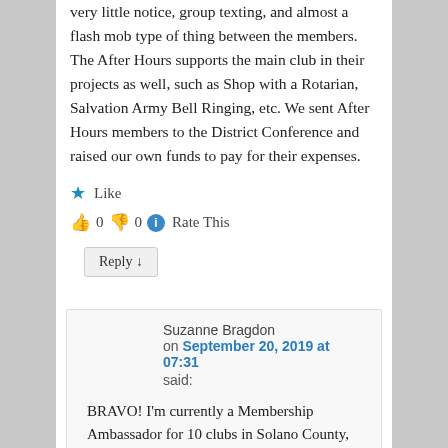very little notice, group texting, and almost a flash mob type of thing between the members. The After Hours supports the main club in their projects as well, such as Shop with a Rotarian, Salvation Army Bell Ringing, etc. We sent After Hours members to the District Conference and raised our own funds to pay for their expenses.
★ Like
👍 0 👎 0 ℹ Rate This
Reply ↓
Suzanne Bragdon on September 20, 2019 at 07:31 said:
BRAVO! I'm currently a Membership Ambassador for 10 clubs in Solano County, California (45 minutes from San Francisco) and am always looking for